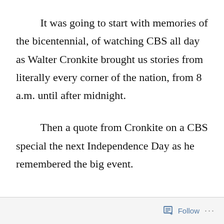It was going to start with memories of the bicentennial, of watching CBS all day as Walter Cronkite brought us stories from literally every corner of the nation, from 8 a.m. until after midnight.
Then a quote from Cronkite on a CBS special the next Independence Day as he remembered the big event.
Follow